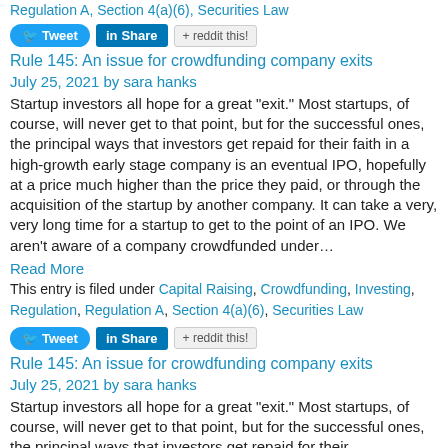Regulation A, Section 4(a)(6), Securities Law
[Figure (other): Social sharing buttons: Tweet, Share (LinkedIn), reddit this!]
Rule 145: An issue for crowdfunding company exits
July 25, 2021 by sara hanks
Startup investors all hope for a great “exit.” Most startups, of course, will never get to that point, but for the successful ones, the principal ways that investors get repaid for their faith in a high-growth early stage company is an eventual IPO, hopefully at a price much higher than the price they paid, or through the acquisition of the startup by another company. It can take a very, very long time for a startup to get to the point of an IPO. We aren’t aware of a company crowdfunded under…
Read More
This entry is filed under Capital Raising, Crowdfunding, Investing, Regulation, Regulation A, Section 4(a)(6), Securities Law
[Figure (other): Social sharing buttons: Tweet, Share (LinkedIn), reddit this!]
Rule 145: An issue for crowdfunding company exits
July 25, 2021 by sara hanks
Startup investors all hope for a great “exit.” Most startups, of course, will never get to that point, but for the successful ones, the principal ways that investors get repaid for their